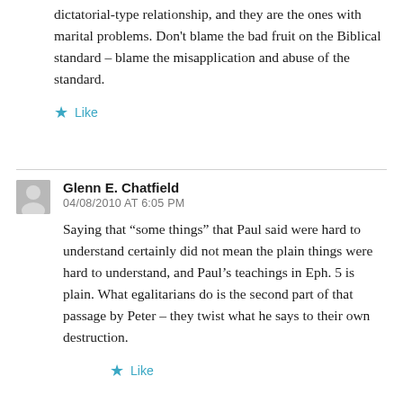dictatorial-type relationship, and they are the ones with marital problems. Don't blame the bad fruit on the Biblical standard – blame the misapplication and abuse of the standard.
★ Like
Glenn E. Chatfield
04/08/2010 AT 6:05 PM
Saying that “some things” that Paul said were hard to understand certainly did not mean the plain things were hard to understand, and Paul’s teachings in Eph. 5 is plain. What egalitarians do is the second part of that passage by Peter – they twist what he says to their own destruction.
★ Like